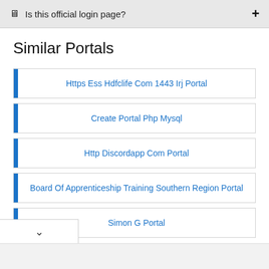Is this official login page?
Similar Portals
Https Ess Hdfclife Com 1443 Irj Portal
Create Portal Php Mysql
Http Discordapp Com Portal
Board Of Apprenticeship Training Southern Region Portal
Simon G Portal